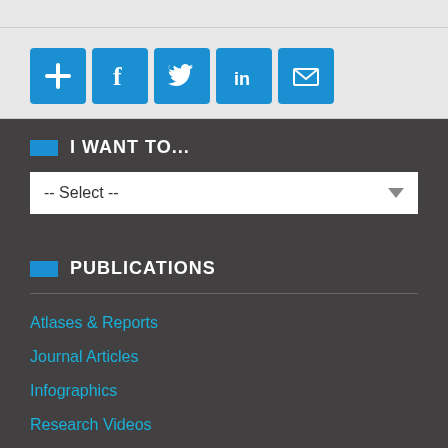[Figure (infographic): Social sharing icons: plus/add, Facebook, Twitter, LinkedIn, email envelope — all on blue rounded square backgrounds]
I WANT TO...
-- Select --
PUBLICATIONS
Atlases & Reports
Journal Articles
Infographics
Research Videos
Newsletters